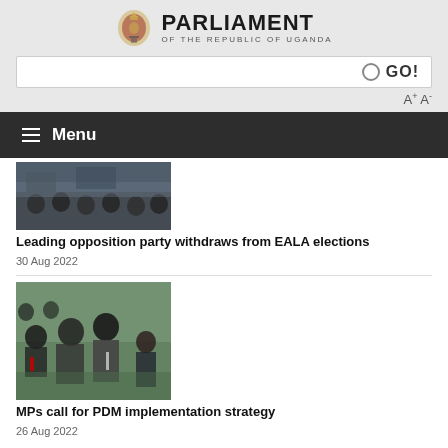PARLIAMENT OF THE REPUBLIC OF UGANDA
GO!
A+ A-
Menu
[Figure (photo): Parliament chamber with MPs seated]
Leading opposition party withdraws from EALA elections
30 Aug 2022
[Figure (photo): MP speaking at a parliament session with microphone, others seated around green tables]
MPs call for PDM implementation strategy
26 Aug 2022